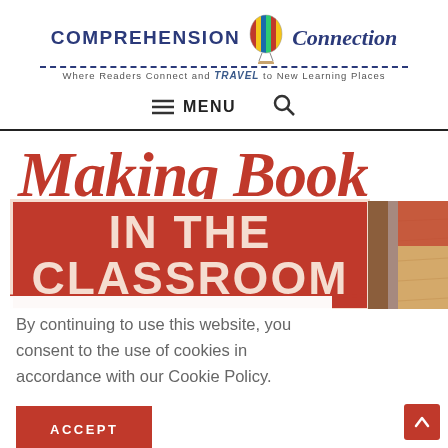[Figure (logo): Comprehension Connection logo with hot air balloon and tagline 'Where Readers Connect and TRAVEL to New Learning Places']
≡ MENU 🔍
[Figure (illustration): Making Books IN THE CLASSROOM banner image with red script text and bold white text on red background, with a partial book illustration on the right side]
By continuing to use this website, you consent to the use of cookies in accordance with our Cookie Policy.
ACCEPT